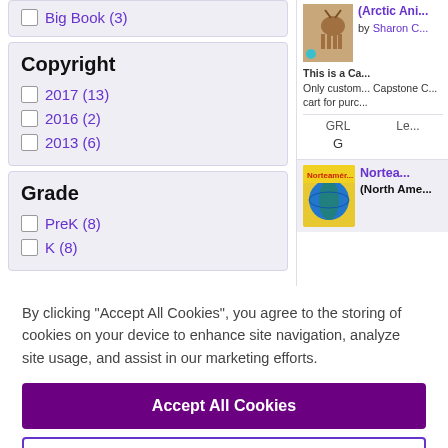Big Book (3)
Copyright
2017 (13)
2016 (2)
2013 (6)
Grade
PreK (8)
K (8)
(Arctic Ani...
by Sharon C...
This is a Ca... Only custon... Capstone C... cart for purc...
GRL
Le...
G
Nortea... (North Ame...
By clicking “Accept All Cookies”, you agree to the storing of cookies on your device to enhance site navigation, analyze site usage, and assist in our marketing efforts.
Accept All Cookies
Cookies Settings